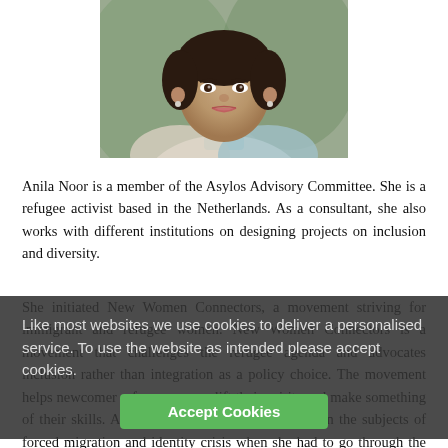[Figure (photo): Portrait photo of Anila Noor, a woman wearing a blue and white patterned traditional top with a decorative neckline, with dark hair pulled back, photographed outdoors with a blurred green background.]
Anila Noor is a member of the Asylos Advisory Committee. She is a refugee activist based in the Netherlands. As a consultant, she also works with different institutions on designing projects on inclusion and diversity.
She initiated New Women Connectors, a movement striving for Like most websites we use cookies to deliver a grant and refugee personalised service. To use the website as intended nectors is a please accept cookies. the refugee agenda and advocates inclusion rather than integration as a policy choice. The movement helps newcomer refugee women lift their spirits and make something of their skills. Anila Noor found herself involved in the subjects of forced migration and identity crisis when she had to go through the same experience. Since she